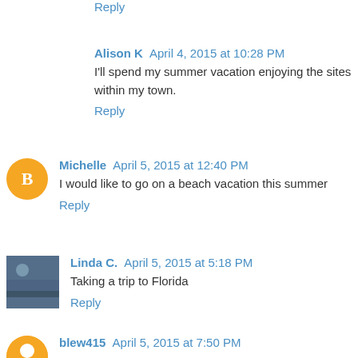Reply
Alison K  April 4, 2015 at 10:28 PM
I'll spend my summer vacation enjoying the sites within my town.
Reply
Michelle  April 5, 2015 at 12:40 PM
I would like to go on a beach vacation this summer
Reply
Linda C.  April 5, 2015 at 5:18 PM
Taking a trip to Florida
Reply
blew415  April 5, 2015 at 7:50 PM